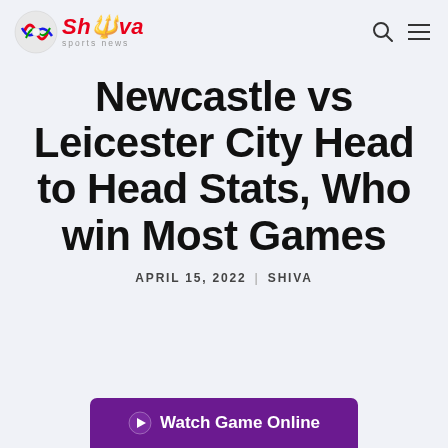Shiva Sports News
Newcastle vs Leicester City Head to Head Stats, Who win Most Games
APRIL 15, 2022 | SHIVA
[Figure (screenshot): Purple banner at bottom with text 'Watch Game Online']